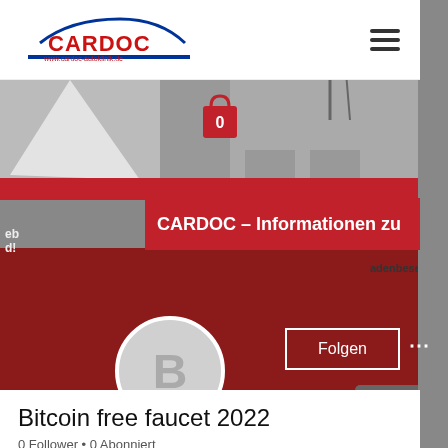[Figure (screenshot): CARDOC Autoklinik website screenshot showing the website header with logo, hamburger menu, hero image with shopping bag icon, red banner with text 'CARDOC - Informationen zu', dark red lower area, Folgen button, avatar circle with letter B, and profile section for 'Bitcoin free faucet 2022' with 0 Follower and 0 Abonniert]
Bitcoin free faucet 2022
0 Follower • 0 Abonniert